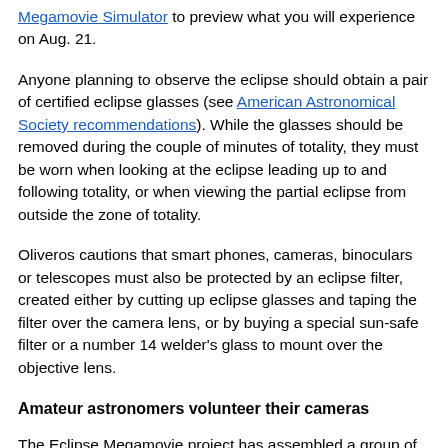Megamovie Simulator to preview what you will experience on Aug. 21.
Anyone planning to observe the eclipse should obtain a pair of certified eclipse glasses (see American Astronomical Society recommendations). While the glasses should be removed during the couple of minutes of totality, they must be worn when looking at the eclipse leading up to and following totality, or when viewing the partial eclipse from outside the zone of totality.
Oliveros cautions that smart phones, cameras, binoculars or telescopes must also be protected by an eclipse filter, created either by cutting up eclipse glasses and taping the filter over the camera lens, or by buying a special sun-safe filter or a number 14 welder's glass to mount over the objective lens.
Amateur astronomers volunteer their cameras
The Eclipse Megamovie project has assembled a group of some 1,500 officially trained volunteers to photograph the